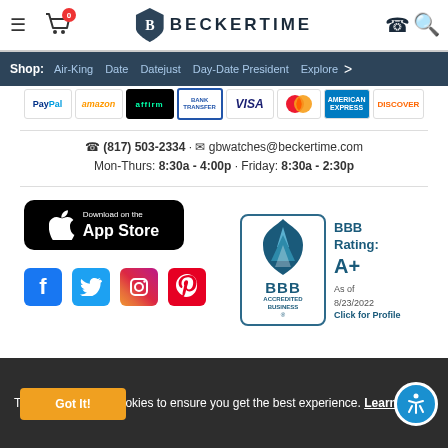BeckerTime - hamburger menu, cart, logo, phone, search
Shop: Air-King  Date  Datejust  Day-Date President  Explore >
[Figure (infographic): Payment method logos: PayPal, Amazon, Affirm, Transfer, Visa, Mastercard, American Express, Discover]
(817) 503-2334 · gbwatches@beckertime.com
Mon-Thurs: 8:30a - 4:00p · Friday: 8:30a - 2:30p
[Figure (logo): Download on the App Store button (black)]
[Figure (logo): BBB Accredited Business badge - BBB Rating: A+ As of 8/23/2022 Click for Profile]
[Figure (infographic): Social media icons: Facebook, Twitter, Instagram, Pinterest]
This website uses cookies to ensure you get the best experience. Learn more
Got It!